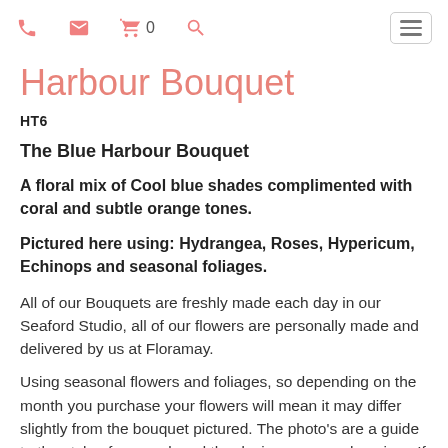Navigation icons: phone, email, cart (0), search, hamburger menu
Harbour Bouquet
HT6
The Blue Harbour Bouquet
A floral mix of Cool blue shades complimented with coral and subtle orange tones.
Pictured here using: Hydrangea, Roses, Hypericum, Echinops and seasonal foliages.
All of our Bouquets are freshly made each day in our Seaford Studio, all of our flowers are personally made and delivered by us at Floramay.
Using seasonal flowers and foliages, so depending on the month you purchase your flowers will mean it may differ slightly from the bouquet pictured. The photo's are a guide to the style of our work and the design you are choosing.  If a flower is out of season we will substitute with an alternative, but it will still